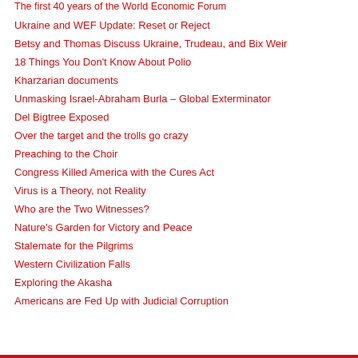The first 40 years of the World Economic Forum
Ukraine and WEF Update: Reset or Reject
Betsy and Thomas Discuss Ukraine, Trudeau, and Bix Weir
18 Things You Don't Know About Polio
Kharzarian documents
Unmasking Israel-Abraham Burla – Global Exterminator
Del Bigtree Exposed
Over the target and the trolls go crazy
Preaching to the Choir
Congress Killed America with the Cures Act
Virus is a Theory, not Reality
Who are the Two Witnesses?
Nature's Garden for Victory and Peace
Stalemate for the Pilgrims
Western Civilization Falls
Exploring the Akasha
Americans are Fed Up with Judicial Corruption